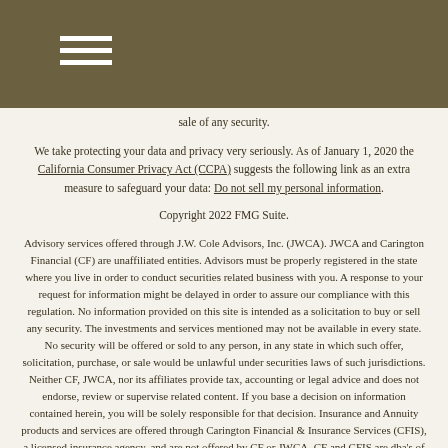sale of any security.
We take protecting your data and privacy very seriously. As of January 1, 2020 the California Consumer Privacy Act (CCPA) suggests the following link as an extra measure to safeguard your data: Do not sell my personal information.
Copyright 2022 FMG Suite.
Advisory services offered through J.W. Cole Advisors, Inc. (JWCA). JWCA and Carington Financial (CF) are unaffiliated entities. Advisors must be properly registered in the state where you live in order to conduct securities related business with you. A response to your request for information might be delayed in order to assure our compliance with this regulation. No information provided on this site is intended as a solicitation to buy or sell any security. The investments and services mentioned may not be available in every state. No security will be offered or sold to any person, in any state in which such offer, solicitation, purchase, or sale would be unlawful under securities laws of such jurisdictions. Neither CF, JWCA, nor its affiliates provide tax, accounting or legal advice and does not endorse, review or supervise related content. If you base a decision on information contained herein, you will be solely responsible for that decision. Insurance and Annuity products and services are offered through Carington Financial & Insurance Services (CFIS), a licensed insurance agency, and are not offered by CF or JWCA. CF and CFIS are dba's of Carington, a California corporation.